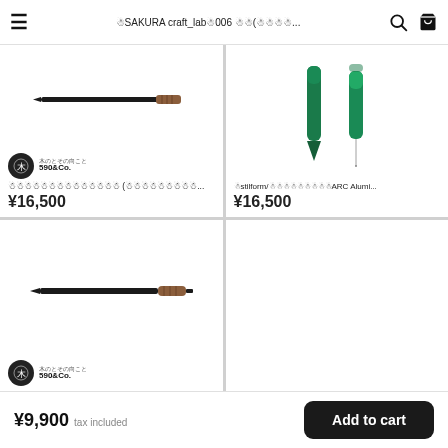≡ ÏSAKURA craft_lab⬜006 ⬜⬜(⬜⬜⬜⬜... 🔍 🛒
[Figure (photo): Black pen with wooden/amber grip section, shown at angle]
[Figure (photo): Two green aluminum pens (stilform ARC Alumi) shown vertically]
⬜⬜⬜⬜⬜⬜⬜⬜⬜⬜⬜⬜⬜⬜ (⬜⬜⬜⬜⬜⬜⬜⬜⬜...
¥16,500
⬜stilform/⬜⬜⬜⬜⬜⬜⬜⬜⬜ARC Alumi...
¥16,500
[Figure (photo): Black pen with wooden/amber grip section, shown horizontally]
[Figure (photo): Empty product card (bottom right)]
¥9,900 tax included
Add to cart